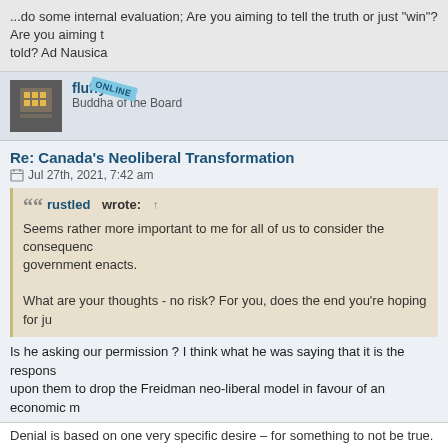...do some internal evaluation; Are you aiming to tell the truth or just "win"? Are you aiming to be told? Ad Nausica
fluffy
Buddha of the Board
Re: Canada's Neoliberal Transformation
Jul 27th, 2021, 7:42 am
rustled wrote: ↑
Seems rather more important to me for all of us to consider the consequence government enacts.

What are your thoughts - no risk? For you, does the end you're hoping for ju
Is he asking our permission ? I think what he was saying that it is the respons upon them to drop the Freidman neo-liberal model in favour of an economic m liberal model, it's pretty much a no-brainer that they wouldn't have gotten a gr Really, who is in the best position to institute a change for the better.
Here is another talk by Mr. Hanauer where he speaks of a more inclusive form
https://youtu.be/q2gO4DKVpa8
Denial is based on one very specific desire – for something to not be true.